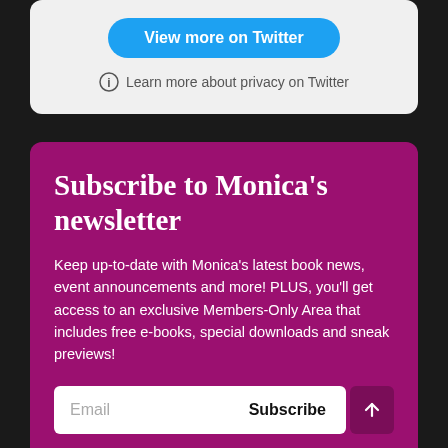[Figure (screenshot): Twitter embed card with 'View more on Twitter' blue button and privacy info link on light gray background]
View more on Twitter
Learn more about privacy on Twitter
Subscribe to Monica's newsletter
Keep up-to-date with Monica's latest book news, event announcements and more! PLUS, you'll get access to an exclusive Members-Only Area that includes free e-books, special downloads and sneak previews!
Email
Subscribe
You can unsubscribe anytime. For more details, review our